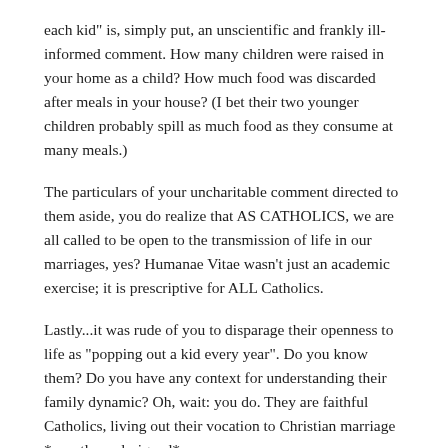each kid" is, simply put, an unscientific and frankly ill-informed comment. How many children were raised in your home as a child? How much food was discarded after meals in your house? (I bet their two younger children probably spill as much food as they consume at many meals.)
The particulars of your uncharitable comment directed to them aside, you do realize that AS CATHOLICS, we are all called to be open to the transmission of life in our marriages, yes? Humanae Vitae wasn't just an academic exercise; it is prescriptive for ALL Catholics.
Lastly...it was rude of you to disparage their openness to life as "popping out a kid every year". Do you know them? Do you have any context for understanding their family dynamic? Oh, wait: you do. They are faithful Catholics, living out their vocation to Christian marriage *exactly as designed*.
Live out your vocation as you please. God will judge your faithfulness; I won't deign to.